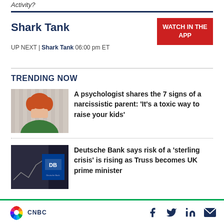Activity?
Shark Tank
WATCH IN THE APP
UP NEXT | Shark Tank 06:00 pm ET
TRENDING NOW
[Figure (photo): Person with red hair covering face with hands, wearing green top]
A psychologist shares the 7 signs of a narcissistic parent: ‘It’s a toxic way to raise your kids’
[Figure (photo): Deutsche Bank logo on screen with stock chart]
Deutsche Bank says risk of a ‘sterling crisis’ is rising as Truss becomes UK prime minister
CNBC | Facebook | Twitter | LinkedIn | Email